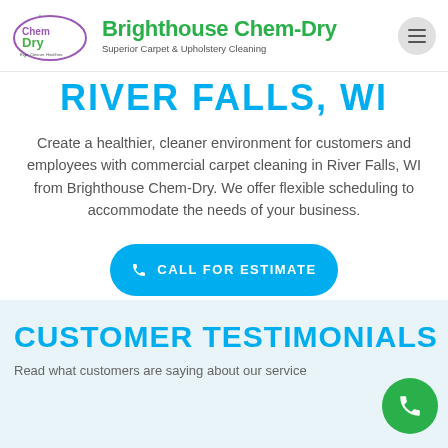[Figure (logo): Chem-Dry logo — oval with green swoosh and 'Chem-Dry' text, alongside 'Brighthouse Chem-Dry' brand name and tagline 'Superior Carpet & Upholstery Cleaning']
RIVER FALLS, WI
Create a healthier, cleaner environment for customers and employees with commercial carpet cleaning in River Falls, WI from Brighthouse Chem-Dry. We offer flexible scheduling to accommodate the needs of your business.
CALL FOR ESTIMATE
CUSTOMER TESTIMONIALS
Read what customers are saying about our service